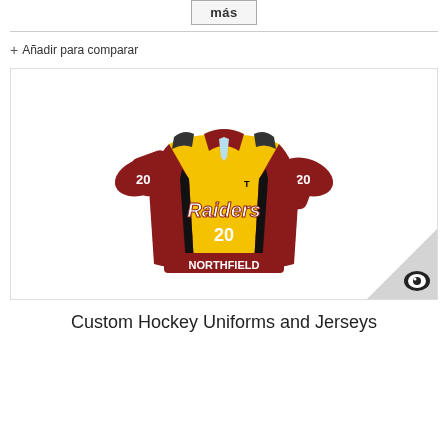más
+ Añadir para comparar
[Figure (photo): Custom hockey jersey for Raiders Northfield, number 20, yellow and dark red/maroon color scheme with black accents, displayed flat on white background. A circular logo watermark is visible in the bottom right corner.]
Custom Hockey Uniforms and Jerseys